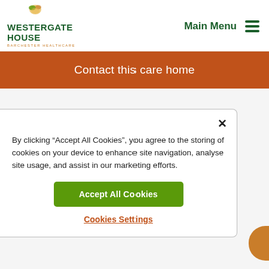[Figure (logo): Westergate House logo with bird/flower icon, green text reading WESTERGATE HOUSE, orange subtext BARCHESTER HEALTHCARE]
Main Menu
Contact this care home
By clicking “Accept All Cookies”, you agree to the storing of cookies on your device to enhance site navigation, analyse site usage, and assist in our marketing efforts.
Accept All Cookies
Cookies Settings